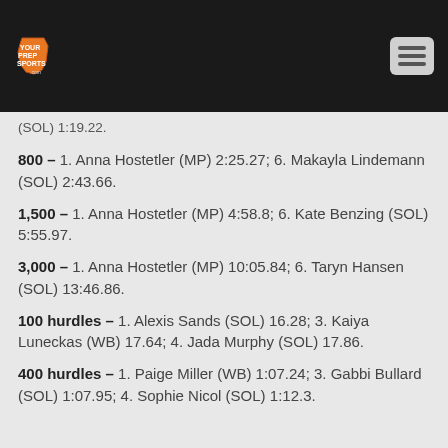Your Prep Sports logo and navigation menu
(SOL) 1:19.22.
800 – 1. Anna Hostetler (MP) 2:25.27; 6. Makayla Lindemann (SOL) 2:43.66.
1,500 – 1. Anna Hostetler (MP) 4:58.8; 6. Kate Benzing (SOL) 5:55.97.
3,000 – 1. Anna Hostetler (MP) 10:05.84; 6. Taryn Hansen (SOL) 13:46.86.
100 hurdles – 1. Alexis Sands (SOL) 16.28; 3. Kaiya Luneckas (WB) 17.64; 4. Jada Murphy (SOL) 17.86.
400 hurdles – 1. Paige Miller (WB) 1:07.24; 3. Gabbi Bullard (SOL) 1:07.95; 4. Sophie Nicol (SOL) 1:12.3.